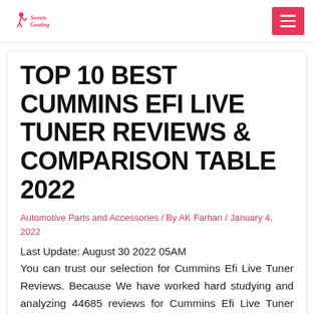SweetsGoating [logo] / [menu button]
TOP 10 BEST CUMMINS EFI LIVE TUNER REVIEWS & COMPARISON TABLE 2022
Automotive Parts and Accessories / By AK Farhan / January 4, 2022
Last Update: August 30 2022 05AM
You can trust our selection for Cummins Efi Live Tuner Reviews. Because We have worked hard studying and analyzing 44685 reviews for Cummins Efi Live Tuner and rating them. It was a difficult job